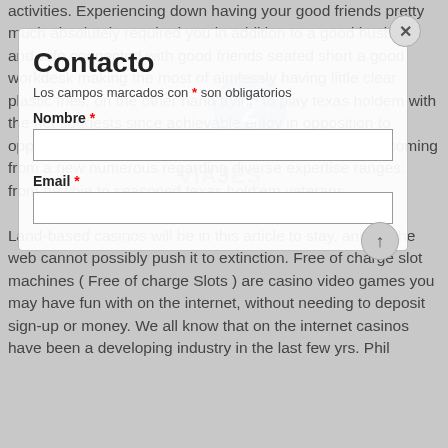activities. Experiencing down having your good friends pretty much absolutely required you in addition to a good husband and wife connected with good friends seated short a good workdesk making the most of aimlessly having little clear plastic fries, on the other hand trying to play texas holdem with the net suggests since achievable enjoy in opposition to oppositions coming from about the planet in addition to coming from a new numerous regarding diverse expertise ranges; from newbie to seasoned texas hold'em veterans.
[Figure (logo): Viajes Horizontes travel agency logo with globe icon, blue text]
Contacto
Los campos marcados con * son obligatorios
Nombre *
Land-based casinos will be in this article to stay, and on the web cannot possibly push it to extinction. Free of charge slot machines ( Free of charge Slots ) are casino video games you may have fun with on the internet, without needing to deposit sign-up or money. We all know that on the internet casinos have been a developing industry in the last few yrs. Phil
Email *